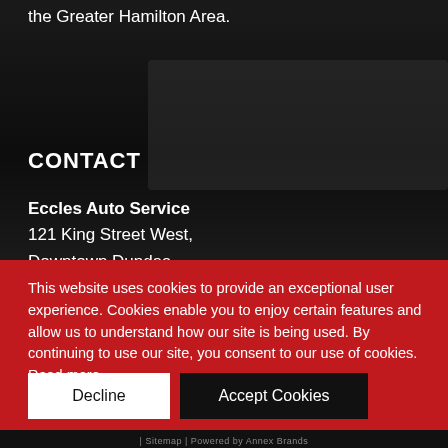the Greater Hamilton Area.
CONTACT
Eccles Auto Service
121 King Street West,
Downtown Dundas
L9H 1V1
This website uses cookies to provide an exceptional user experience. Cookies enable you to enjoy certain features and allow us to understand how our site is being used. By continuing to use our site, you consent to our use of cookies. Read more
Decline
Accept Cookies
| Sitemap | Powered by Annex Brands